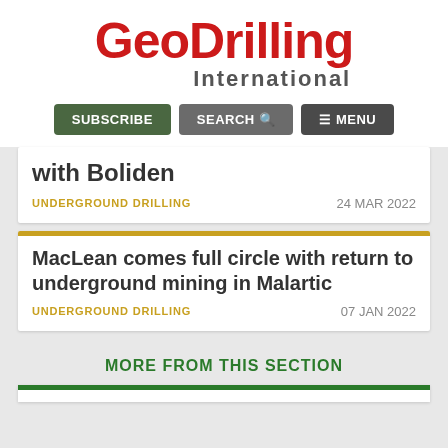[Figure (logo): GeoDrilling International logo with red bold text]
SUBSCRIBE | SEARCH | MENU
with Boliden
UNDERGROUND DRILLING  24 MAR 2022
MacLean comes full circle with return to underground mining in Malartic
UNDERGROUND DRILLING  07 JAN 2022
MORE FROM THIS SECTION